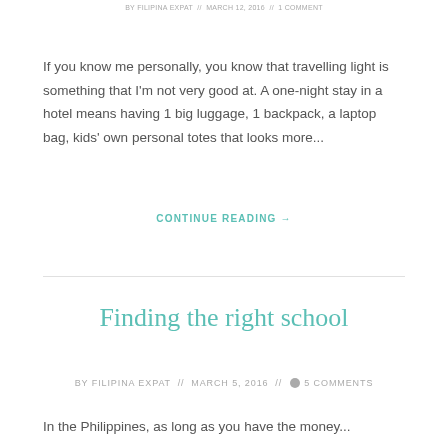BY FILIPINA EXPAT // MARCH 12, 2016 // 1 COMMENT
If you know me personally, you know that travelling light is something that I'm not very good at. A one-night stay in a hotel means having 1 big luggage, 1 backpack, a laptop bag, kids' own personal totes that looks more...
CONTINUE READING →
Finding the right school
BY FILIPINA EXPAT // MARCH 5, 2016 // 5 COMMENTS
In the Philippines, as long as you have the money...